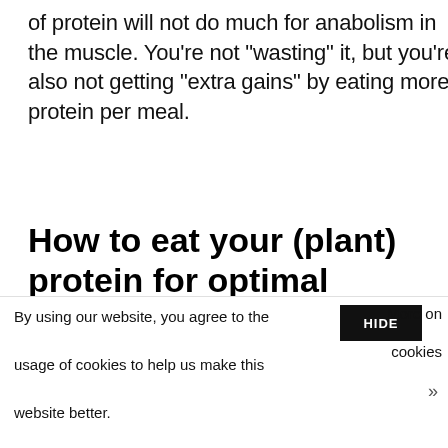of protein will not do much for anabolism in the muscle. You're not "wasting" it, but you're also not getting "extra gains" by eating more protein per meal.
How to eat your (plant) protein for optimal muscle protein synthesis?
1. Find out how much protein you should be
By using our website, you agree to the usage of cookies to help us make this website better.
HIDE
More on cookies »